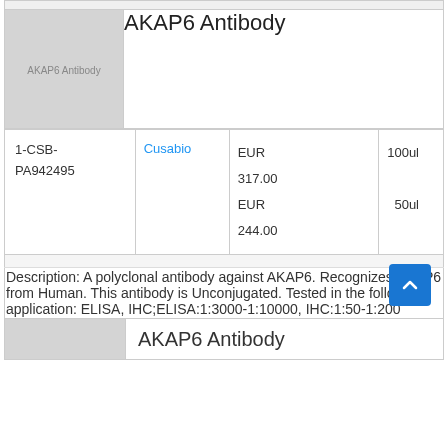[Figure (photo): Product image placeholder showing AKAP6 Antibody text on gray background]
AKAP6 Antibody
| Catalog | Supplier | Price | Size |
| --- | --- | --- | --- |
| 1-CSB-PA942495 | Cusabio | EUR 317.00
EUR 244.00 | 100ul
50ul |
Description: A polyclonal antibody against AKAP6. Recognizes AKAP6 from Human. This antibody is Unconjugated. Tested in the following application: ELISA, IHC;ELISA:1:3000-1:10000, IHC:1:50-1:200
AKAP6 Antibody